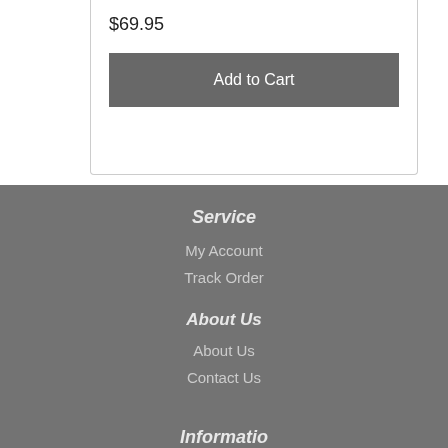$69.95
Add to Cart
Service
My Account
Track Order
About Us
About Us
Contact Us
Information